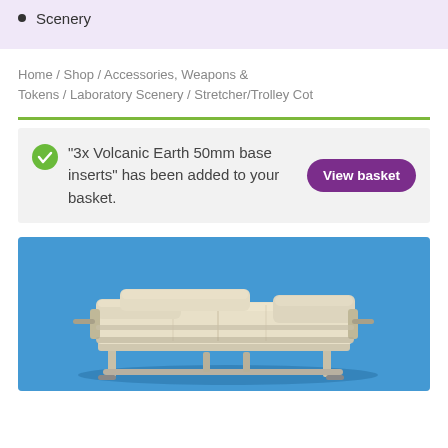Scenery
Home / Shop / Accessories, Weapons & Tokens / Laboratory Scenery / Stretcher/Trolley Cot
"3x Volcanic Earth 50mm base inserts" has been added to your basket.
[Figure (photo): A white/cream coloured miniature stretcher or trolley cot model on a blue background, shown from a slightly elevated angle. The model shows a medical gurney with raised side rails and a mattress pad.]